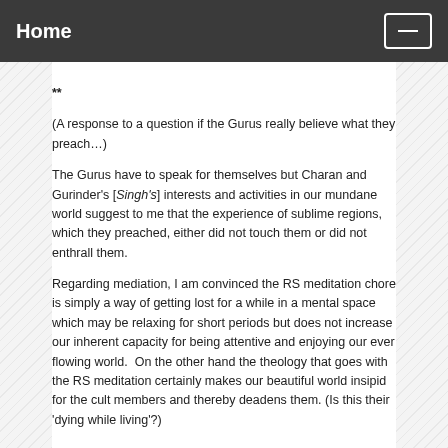Home
**
(A response to a question if the Gurus really believe what they preach…)
The Gurus have to speak for themselves but Charan and Gurinder's [Singh's] interests and activities in our mundane world suggest to me that the experience of sublime regions, which they preached, either did not touch them or did not enthrall them.
Regarding mediation, I am convinced the RS meditation chore is simply a way of getting lost for a while in a mental space which may be relaxing for short periods but does not increase our inherent capacity for being attentive and enjoying our ever flowing world.  On the other hand the theology that goes with the RS meditation certainly makes our beautiful world insipid for the cult members and thereby deadens them. (Is this their 'dying while living'?)